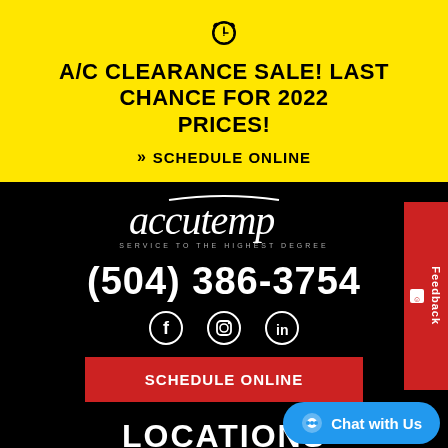[Figure (infographic): Alarm clock emoji icon in black on yellow background]
A/C CLEARANCE SALE! LAST CHANCE FOR 2022 PRICES!
>> SCHEDULE ONLINE
[Figure (logo): Accutemp logo - white italic text on black background with tagline SERVICE TO THE HIGHEST DEGREE]
(504) 386-3754
[Figure (infographic): Social media icons: Facebook, Instagram, LinkedIn in white on black]
SCHEDULE ONLINE
LOCATIONS
Feedback
Chat with Us